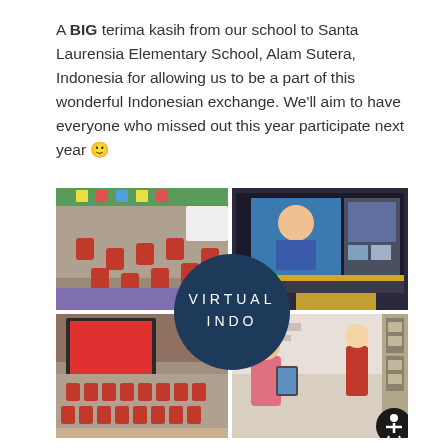A BIG terima kasih from our school to Santa Laurensia Elementary School, Alam Sutera, Indonesia for allowing us to be a part of this wonderful Indonesian exchange. We'll aim to have everyone who missed out this year participate next year 🙂
[Figure (photo): A collage of four classroom photos showing students in red uniforms participating in a virtual Indonesian exchange. The top-left photo shows students sitting on a classroom floor with Indonesian decorations. The top-right shows a video call with an Indonesian teacher on a large screen. The bottom-left shows students watching a video on a screen. The bottom-right shows a teacher and students with a tablet. A dark navy circle in the center of the collage reads 'VIRTUAL INDO'.]